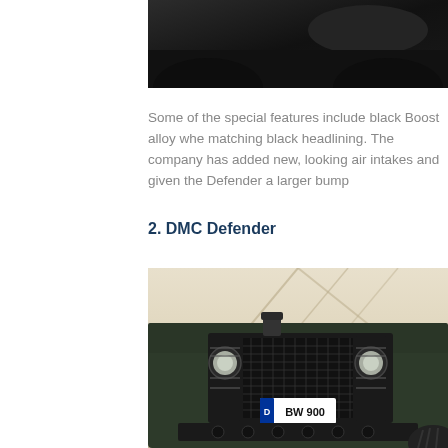[Figure (photo): Top portion of a dark/black vehicle, cropped image showing vehicle roof area against dark background]
Some of the special features include black Boost alloy whe matching black headlining. The company has added new, looking air intakes and given the Defender a larger bump
2. DMC Defender
[Figure (photo): Front view of a dark green DMC Defender (Land Rover Defender) with metal grille guard, round headlights with protective cages, and German license plate D BW 900, photographed in what appears to be an indoor showroom with geometric ceiling structure]